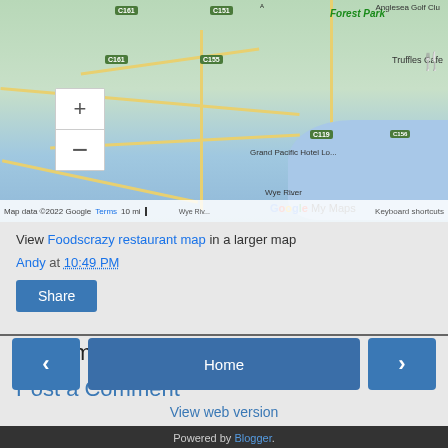[Figure (map): Google My Maps showing Forest Park area in Victoria, Australia with restaurant markers (fork icons), road labels (C161, C155, C151, C119, C156), place names (Forest Park, Beech Forest, Grand Pacific Hotel Lo..., Truffles Cafe, Anglesea Golf Club, Wye River General Store), map controls (zoom in/out), scale bar, and footer with Map data ©2022 Google, Terms, 10 mi scale, Keyboard shortcuts.]
View Foodscrazy restaurant map in a larger map
Andy at 10:49 PM
Share
No comments:
Post a Comment
Home
View web version
Powered by Blogger.